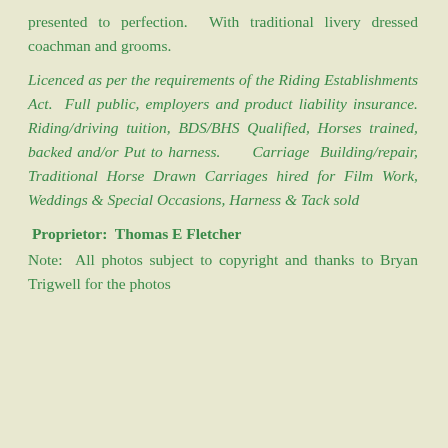presented to perfection.  With traditional livery dressed coachman and grooms.
Licenced as per the requirements of the Riding Establishments Act.  Full public, employers and product liability insurance. Riding/driving tuition, BDS/BHS Qualified, Horses trained, backed and/or Put to harness.      Carriage  Building/repair, Traditional Horse Drawn Carriages hired for Film Work, Weddings & Special Occasions, Harness & Tack sold
Proprietor:  Thomas E Fletcher
Note:  All photos subject to copyright and thanks to Bryan Trigwell for the photos